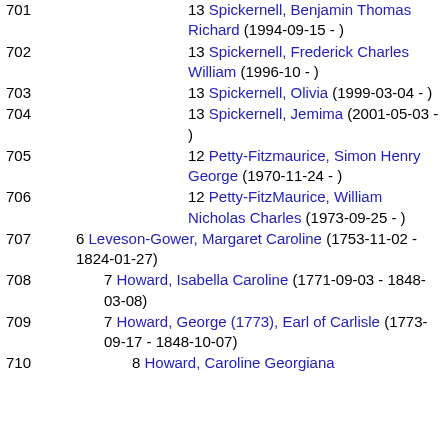701  13 Spickernell, Benjamin Thomas Richard (1994-09-15 - )
702  13 Spickernell, Frederick Charles William (1996-10 - )
703  13 Spickernell, Olivia (1999-03-04 - )
704  13 Spickernell, Jemima (2001-05-03 - )
705  12 Petty-Fitzmaurice, Simon Henry George (1970-11-24 - )
706  12 Petty-FitzMaurice, William Nicholas Charles (1973-09-25 - )
707  6 Leveson-Gower, Margaret Caroline (1753-11-02 - 1824-01-27)
708  7 Howard, Isabella Caroline (1771-09-03 - 1848-03-08)
709  7 Howard, George (1773), Earl of Carlisle (1773-09-17 - 1848-10-07)
710  8 Howard, Caroline Georgiana